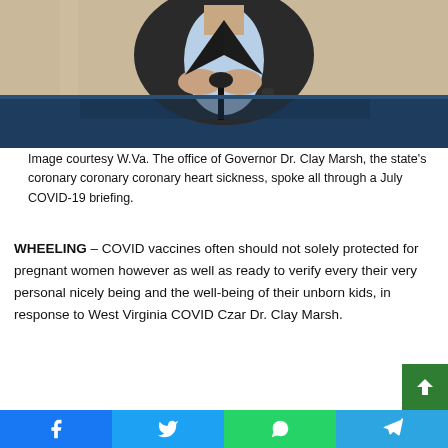[Figure (photo): A man in a dark blazer over a light blue shirt sits at a table with a microphone, gesturing with his hands clasped, at what appears to be a press briefing. The background is a light beige/cream color.]
Image courtesy W.Va. The office of Governor Dr. Clay Marsh, the state's coronary coronary coronary heart sickness, spoke all through a July COVID-19 briefing.
WHEELING – COVID vaccines often should not solely protected for pregnant women however as well as ready to verify every their very personal nicely being and the well-being of their unborn kids, in response to West Virginia COVID Czar Dr. Clay Marsh.
Marsh's suggestions acquired right here all through Governor